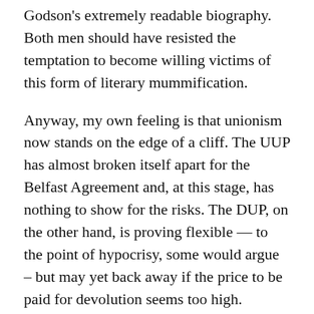Godson's extremely readable biography. Both men should have resisted the temptation to become willing victims of this form of literary mummification.
Anyway, my own feeling is that unionism now stands on the edge of a cliff. The UUP has almost broken itself apart for the Belfast Agreement and, at this stage, has nothing to show for the risks. The DUP, on the other hand, is proving flexible — to the point of hypocrisy, some would argue – but may yet back away if the price to be paid for devolution seems too high.
Unionism needs devolution, for it gives it goals and purposes. Whatever the politically disengaged and non-voting pro-Union middle-classes may believe, Direct Rule is, in the long